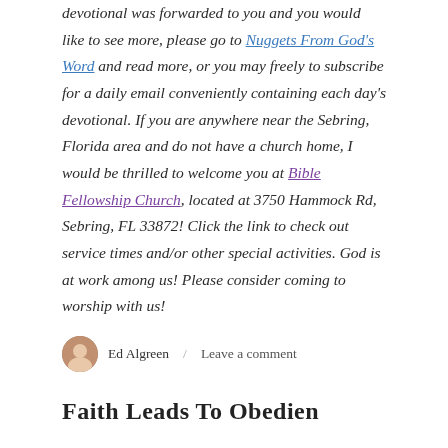devotional was forwarded to you and you would like to see more, please go to Nuggets From God's Word and read more, or you may freely to subscribe for a daily email conveniently containing each day's devotional. If you are anywhere near the Sebring, Florida area and do not have a church home, I would be thrilled to welcome you at Bible Fellowship Church, located at 3750 Hammock Rd, Sebring, FL 33872! Click the link to check out service times and/or other special activities. God is at work among us! Please consider coming to worship with us!
Ed Algreen / Leave a comment
Faith Leads To Obedien...